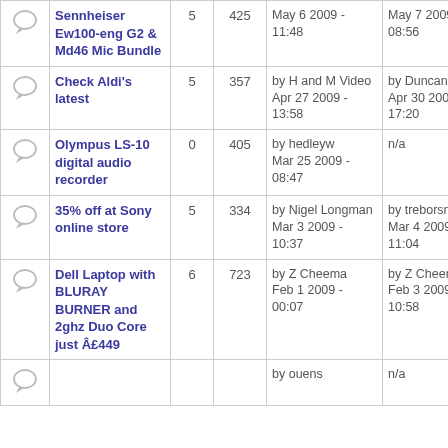|  | Topic | Replies | Views | Started | Last Post |
| --- | --- | --- | --- | --- | --- |
| [icon] | Sennheiser Ew100-eng G2 & Md46 Mic Bundle | 5 | 425 | May 6 2009 - 11:48 | May 7 2009 - 08:56 |
| [icon] | Check Aldi's latest | 5 | 357 | by H and M Video
Apr 27 2009 - 13:58 | by Duncan Craig
Apr 30 2009 - 17:20 |
| [icon] | Olympus LS-10 digital audio recorder | 0 | 405 | by hedleyw
Mar 25 2009 - 08:47 | n/a |
| [icon] | 35% off at Sony online store | 5 | 334 | by Nigel Longman
Mar 3 2009 - 10:37 | by treborsnave
Mar 4 2009 - 11:04 |
| [icon] | Dell Laptop with BLURAY BURNER and 2ghz Duo Core just £449 | 6 | 723 | by Z Cheema
Feb 1 2009 - 00:07 | by Z Cheema
Feb 3 2009 - 10:58 |
| [icon] |  |  |  | by ouens | n/a |